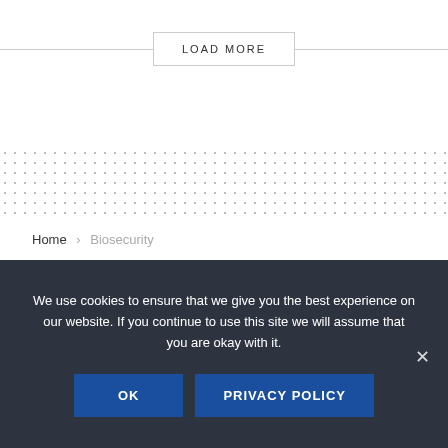LOAD MORE
[Figure (other): Dotted grid pattern background divider]
Home › Biosecurity
BARDA Issues 3 New Broad Agency
We use cookies to ensure that we give you the best experience on our website. If you continue to use this site we will assume that you are okay with it.
OK
PRIVACY POLICY